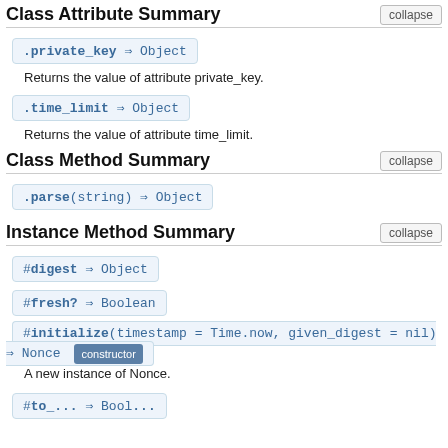Class Attribute Summary
.private_key ⇒ Object
Returns the value of attribute private_key.
.time_limit ⇒ Object
Returns the value of attribute time_limit.
Class Method Summary
.parse(string) ⇒ Object
Instance Method Summary
#digest ⇒ Object
#fresh? ⇒ Boolean
#initialize(timestamp = Time.now, given_digest = nil) ⇒ Nonce  constructor
A new instance of Nonce.
#...⇒ Bool...